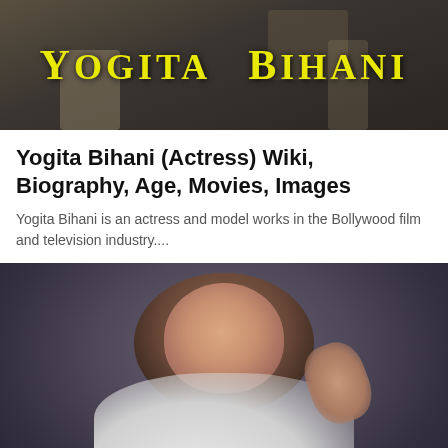[Figure (photo): Photo of Yogita Bihani with yellow stylized text overlay reading YOGITA BIHANI on a dark background]
Yogita Bihani (Actress) Wiki, Biography, Age, Movies, Images
Yogita Bihani is an actress and model works in the Bollywood film and television industry....
[Figure (photo): Photo of Leysan Karimova, a young woman in a white top leaning with her hand to her head against a dark grey background, with yellow stylized text overlay reading LEYSAN KARIMOVA at the bottom]